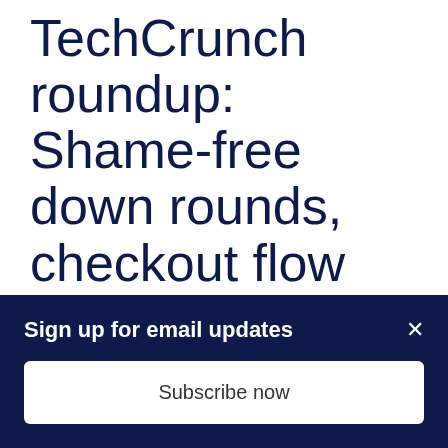TechCrunch roundup: Shame-free down rounds, checkout flow tune-up, SaaS tsunami
Turning one-time customers into repeat buyers takes on heightened importance during a downturn. Acquiring one new user can be a heavy lift, but finding ways to reduce...
Sign up for email updates
Subscribe now